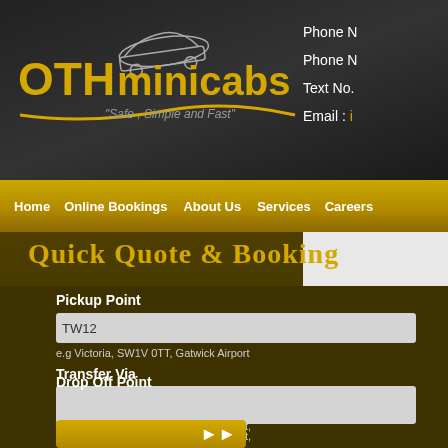[Figure (logo): OTH Minicabs logo with car graphic and tagline 'Safe, Simple and Fast']
Phone N
Phone N
Text No.
Email : i
Home  Online Bookings  About Us  Services  Careers
Quick Quote & Booking
Pickup Point
TW12
e.g Victoria, SW1V 0TT, Gatwick Airport
Transfer Via
e.g Brixton, SW2 0TT, Heathrow Airport,
Drop Off Point
e.g Brixton, SW2 0TT, Heathrow Airport,